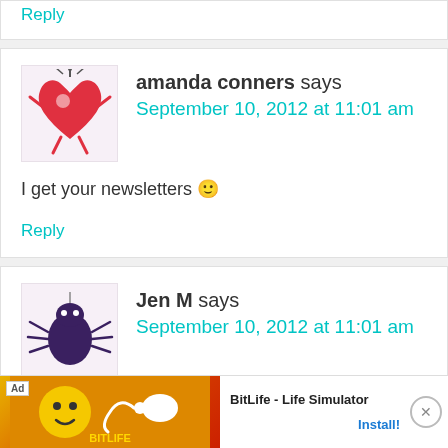Reply
amanda conners says
September 10, 2012 at 11:01 am
[Figure (illustration): Cartoon avatar of a red heart character with stick arms and legs]
I get your newsletters 🙂
Reply
Jen M says
September 10, 2012 at 11:01 am
[Figure (illustration): Cartoon avatar of a dark spider character]
I a…
[Figure (screenshot): Ad banner: BitLife - Life Simulator game advertisement with Install button]